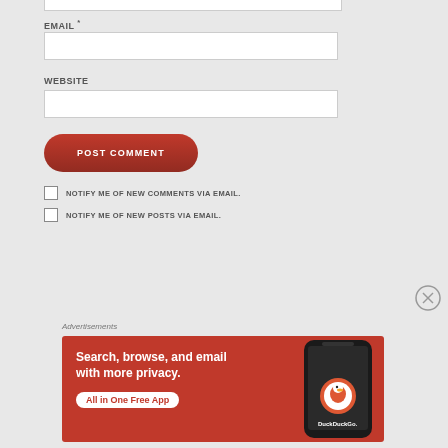EMAIL *
WEBSITE
POST COMMENT
NOTIFY ME OF NEW COMMENTS VIA EMAIL.
NOTIFY ME OF NEW POSTS VIA EMAIL.
Advertisements
[Figure (illustration): DuckDuckGo advertisement showing a smartphone with the DuckDuckGo logo on an orange/red background. Text reads: 'Search, browse, and email with more privacy. All in One Free App'. DuckDuckGo logo and branding visible on phone screen.]